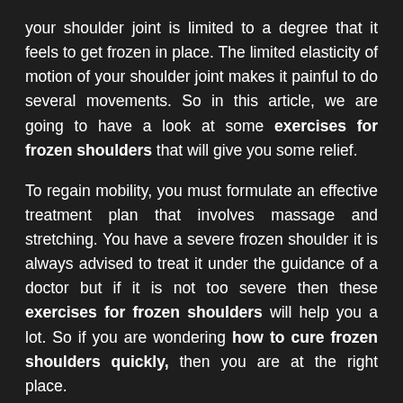your shoulder joint is limited to a degree that it feels to get frozen in place. The limited elasticity of motion of your shoulder joint makes it painful to do several movements. So in this article, we are going to have a look at some exercises for frozen shoulders that will give you some relief.
To regain mobility, you must formulate an effective treatment plan that involves massage and stretching. You have a severe frozen shoulder it is always advised to treat it under the guidance of a doctor but if it is not too severe then these exercises for frozen shoulders will help you a lot. So if you are wondering how to cure frozen shoulders quickly, then you are at the right place.
3 Exercises For Frozen Shoulder You Should Do At Home